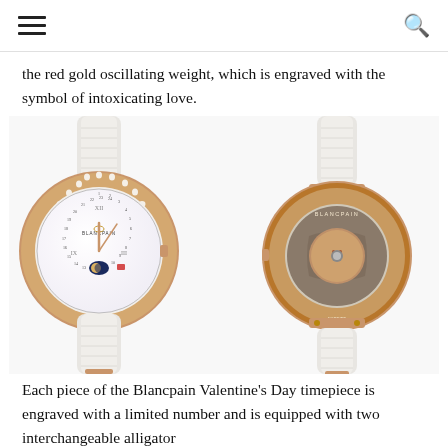☰  🔍
the red gold oscillating weight, which is engraved with the symbol of intoxicating love.
[Figure (photo): Two Blancpain Valentine's Day watches shown side by side: left showing the front face with diamond bezel, mother-of-pearl dial, moon phase, and white alligator strap; right showing the caseback with visible movement and rose gold oscillating weight engraved with a heart, with white strap.]
Each piece of the Blancpain Valentine's Day timepiece is engraved with a limited number and is equipped with two interchangeable alligator